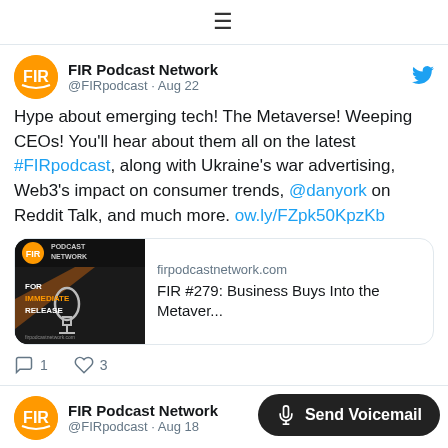☰ (hamburger menu)
FIR Podcast Network @FIRpodcast · Aug 22
Hype about emerging tech! The Metaverse! Weeping CEOs! You'll hear about them all on the latest #FIRpodcast, along with Ukraine's war advertising, Web3's impact on consumer trends, @danyork on Reddit Talk, and much more. ow.ly/FZpk50KpzKb
[Figure (screenshot): Link preview card for firpodcastnetwork.com showing FIR #279: Business Buys Into the Metaver...]
1  3 (reply and like counts)
FIR Podcast Network @FIRpodcast · Aug 18
Send Voicemail (button overlay)